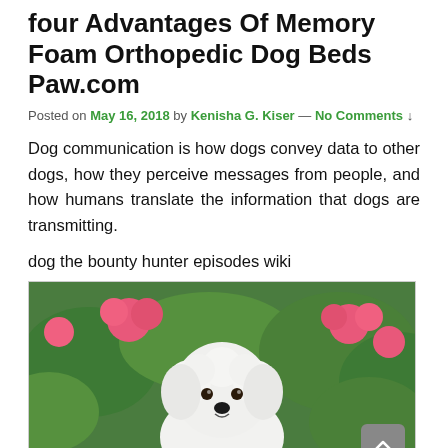four Advantages Of Memory Foam Orthopedic Dog Beds Paw.com
Posted on May 16, 2018 by Kenisha G. Kiser — No Comments ↓
Dog communication is how dogs convey data to other dogs, how they perceive messages from people, and how humans translate the information that dogs are transmitting.
dog the bounty hunter episodes wiki
[Figure (photo): A fluffy white small dog (likely a Bichon Frise or similar breed) sitting among green foliage and bright pink flowers, looking at the camera.]